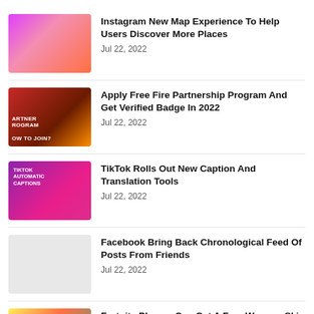Instagram New Map Experience To Help Users Discover More Places
Jul 22, 2022
Apply Free Fire Partnership Program And Get Verified Badge In 2022
Jul 22, 2022
TikTok Rolls Out New Caption And Translation Tools
Jul 22, 2022
Facebook Bring Back Chronological Feed Of Posts From Friends
Jul 22, 2022
Fortnite Players Can Get A Free Weapon Skin With GeForce NOW
Jul 22, 2022